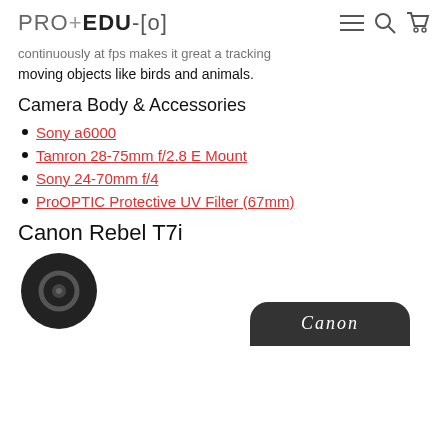PRO+EDU[o]
continuously at fps makes it great a tracking moving objects like birds and animals.
Camera Body & Accessories
Sony a6000
Tamron 28-75mm f/2.8 E Mount
Sony 24-70mm f/4
ProOPTIC Protective UV Filter (67mm)
Canon Rebel T7i
[Figure (photo): Canon camera body photo with Canon logo visible at the bottom]